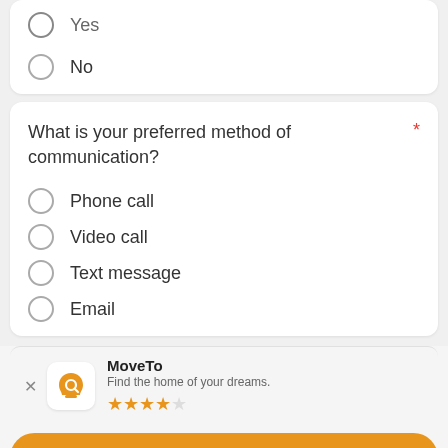Yes
No
What is your preferred method of communication? *
Phone call
Video call
Text message
Email
MoveTo
Find the home of your dreams.
★★★★☆
Use App